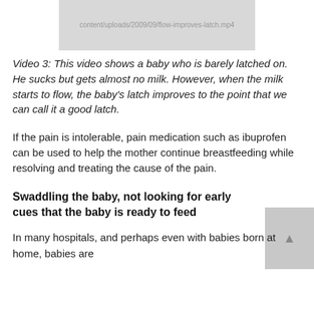[Figure (screenshot): Gray placeholder box showing URL text: content/uploads/2009/09/flow-improves-latch.mp4]
Video 3: This video shows a baby who is barely latched on. He sucks but gets almost no milk. However, when the milk starts to flow, the baby's latch improves to the point that we can call it a good latch.
If the pain is intolerable, pain medication such as ibuprofen can be used to help the mother continue breastfeeding while resolving and treating the cause of the pain.
Swaddling the baby, not looking for early cues that the baby is ready to feed
In many hospitals, and perhaps even with babies born at home, babies are